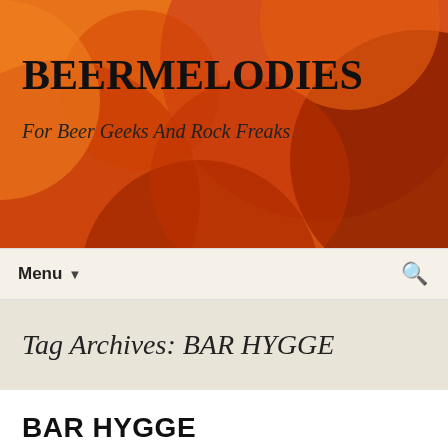[Figure (illustration): Abstract banner with overlapping circles and curves in warm orange, red, and brown tones with text overlay showing site name and tagline]
BEERMELODIES
For Beer Geeks And Rock Freaks
Menu ▼
Tag Archives: BAR HYGGE
BAR HYGGE